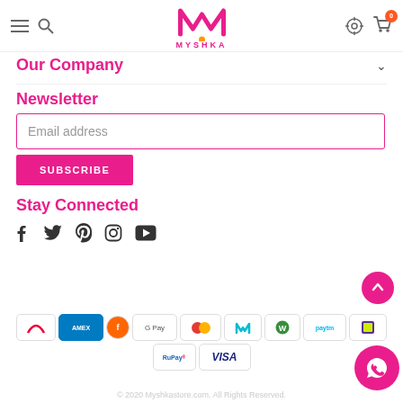MYSHKA — navigation header with logo, hamburger menu, search, gear icon, and cart (0)
Our Company
Newsletter
Email address
SUBSCRIBE
Stay Connected
[Figure (infographic): Social media icons: Facebook, Twitter, Pinterest, Instagram, YouTube]
[Figure (infographic): Payment method logos: Airtel, Amex, Freecharge, Google Pay, Mastercard, MobiKwik M, MobiKwik W, Paytm, PhonePe, RuPay, Visa]
© 2020 Myshkastore.com. All Rights Reserved.